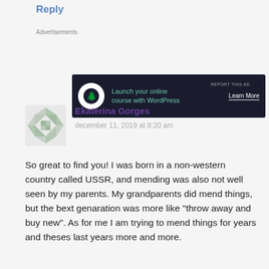Reply
Advertisements
[Figure (other): Advertisement banner: dark background with tree icon, text 'Launch your online course with WordPress', and 'Learn More' button]
REPORT THIS AD
Ekaterina Gorges
december 11, 2019 at 9:20 am
So great to find you! I was born in a non-western country called USSR, and mending was also not well seen by my parents. My grandparents did mend things, but the bext genaration was more like “throw away and buy new”. As for me I am trying to mend things for years and theses last years more and more.